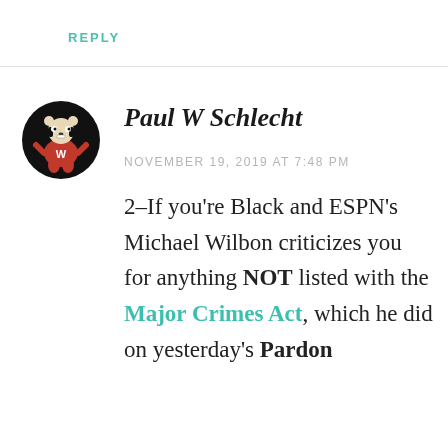REPLY
[Figure (illustration): Circular avatar showing the Wisconsin Badgers Bucky Badger mascot in red and white on a black background]
Paul W Schlecht
NOVEMBER 19, 2019 AT 7:48 PM
2–If you're Black and ESPN's Michael Wilbon criticizes you for anything NOT listed with the Major Crimes Act, which he did on yesterday's Pardon